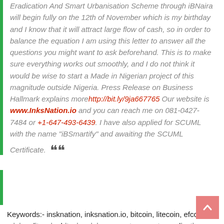Eradication And Smart Urbanisation Scheme through iBNaira will begin fully on the 12th of November which is my birthday and I know that it will attract large flow of cash, so in order to balance the equation I am using this letter to answer all the questions you might want to ask beforehand. This is to make sure everything works out smoothly, and I do not think it would be wise to start a Made in Nigerian project of this magnitude outside Nigeria. Press Release on Business Hallmark explains more http://bit.ly/9ja667765 Our website is www.InksNation.io and you can reach me on 081-0427-7484 or +1-647-493-6439. I have also applied for SCUML with the name "iBSmartify" and awaiting the SCUML Certificate.
Keywords:- insknation, inksnation.io, bitcoin, litecoin, efcc, mining, litecoin, bitcoin mining, poverty, poverty eradication.
Tags: Insknation